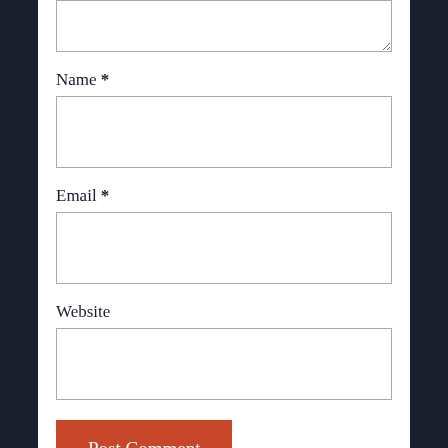(textarea top — comment field)
Name *
(Name input field)
Email *
(Email input field)
Website
(Website input field)
Post Comment
Notify me of new comments via email